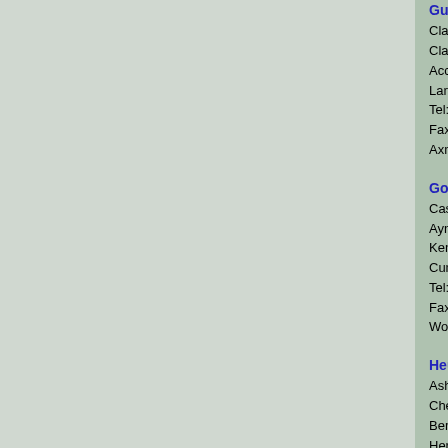Gusken Textiles
Clayton Park
Clayton-Le-Moors
Accrington
Lancashire
Tel: 01254 724000
Fax: 01254 724200
Axminster and tufted carpets and tiles.
Goodacre Carpets
Castle Mills
Aynam Road
Kendal
Cumbria LA9 7DF
Tel: 01539 723601
Fax: 01539 730311
Wool Axminsters
Heuga
Ashlyns Hall
Chesham Road
Berkhamstead
Hertfordshire HP4 2ST
Tel: 01442 285000
Fax: 01442 876053
Interface Europe
Ashlyns Hall
Chesham Road
Berkhamstead
Hertfordshire HP4 2ST
Tel: 01442 285000
Fax: 01442 876053
Bonded Tiles and Broadloom in wool and man-made fibres.